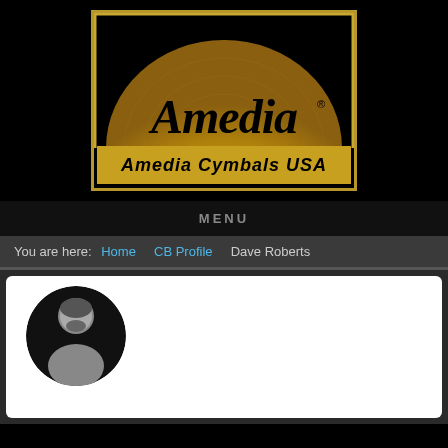[Figure (logo): Amedia Cymbals USA logo: gold cymbal arc on black background with script 'Amedia' text and 'Amedia Cymbals USA' in bold gold letters at bottom, bordered by gold rectangle]
MENU
You are here: Home  CB Profile  Dave Roberts
[Figure (photo): Black and white circular profile photo of Dave Roberts, a bearded middle-aged man]